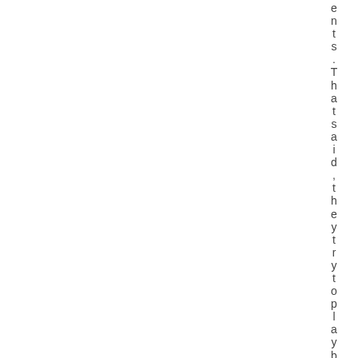ents. That said, they try to play byt